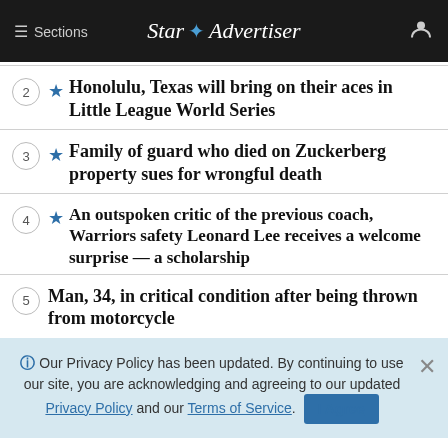≡ Sections  Star Advertiser
2 ★ Honolulu, Texas will bring on their aces in Little League World Series
3 ★ Family of guard who died on Zuckerberg property sues for wrongful death
4 ★ An outspoken critic of the previous coach, Warriors safety Leonard Lee receives a welcome surprise — a scholarship
5 Man, 34, in critical condition after being thrown from motorcycle
ℹ Our Privacy Policy has been updated. By continuing to use our site, you are acknowledging and agreeing to our updated Privacy Policy and our Terms of Service. I Agree